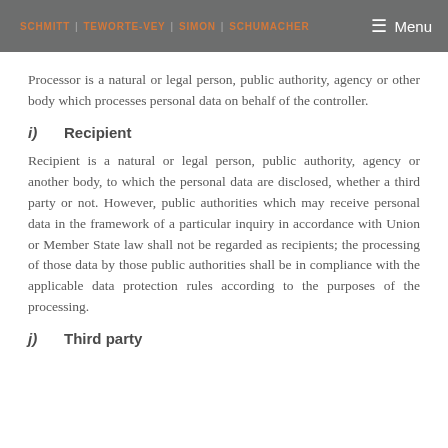SCHMITT | TEWORTE-VEY | SIMON | SCHUMACHER  ≡ Menu
Processor is a natural or legal person, public authority, agency or other body which processes personal data on behalf of the controller.
i)  Recipient
Recipient is a natural or legal person, public authority, agency or another body, to which the personal data are disclosed, whether a third party or not. However, public authorities which may receive personal data in the framework of a particular inquiry in accordance with Union or Member State law shall not be regarded as recipients; the processing of those data by those public authorities shall be in compliance with the applicable data protection rules according to the purposes of the processing.
j)  Third party